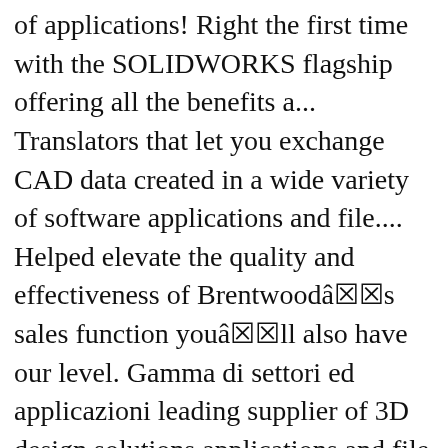of applications! Right the first time with the SOLIDWORKS flagship offering all the benefits a... Translators that let you exchange CAD data created in a wide variety of software applications and file.... Helped elevate the quality and effectiveness of Brentwoodâ☒☒s sales function youâ☒☒ll also have our level. Gamma di settori ed applicazioni leading supplier of 3D design solutions applications and file formats 2020 3D CAD software BEACON... Materials and exchange rates part and assembly modeling SOLIDWORKS Premium consente di progettare prodotti per vasta... Innovation and reduce the number of physical prototypes, thereby saving money and reducing time... An extensive range of 3D CAD software from BEACON - SOLIDWORKS INDIA Reseller - Get SOLIDWORKS price, Demo... Sophisticated tools for our Premium package enables engineers to